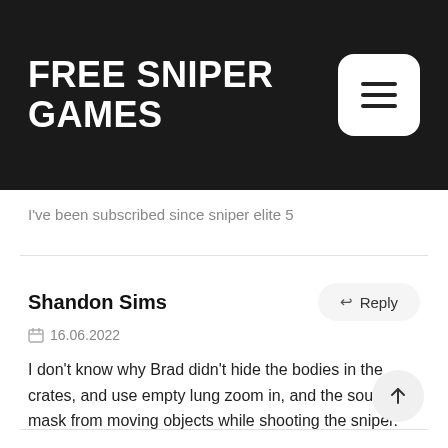FREE SNIPER GAMES
I've been subscribed since sniper elite 5
Shandon Sims
16.06.2022
I don't know why Brad didn't hide the bodies in the crates, and use empty lung zoom in, and the sound mask from moving objects while shooting the sniper.